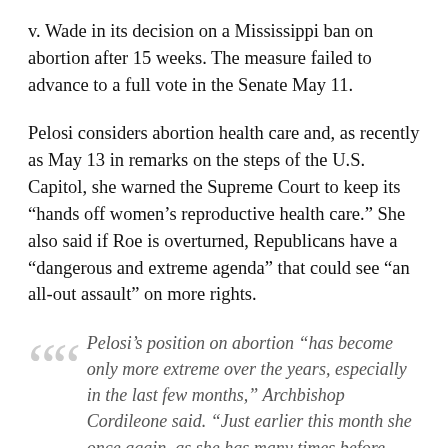v. Wade in its decision on a Mississippi ban on abortion after 15 weeks. The measure failed to advance to a full vote in the Senate May 11.
Pelosi considers abortion health care and, as recently as May 13 in remarks on the steps of the U.S. Capitol, she warned the Supreme Court to keep its “hands off women’s reproductive health care.” She also said if Roe is overturned, Republicans have a “dangerous and extreme agenda” that could see “an all-out assault” on more rights.
Pelosi’s position on abortion “has become only more extreme over the years, especially in the last few months,” Archbishop Cordileone said. “Just earlier this month she once again, as she has many times before, explicitly cited her Catholic faith while justifying abortion as a ‘choice,’ this time setting herself in direct opposition to Pope Francis.”